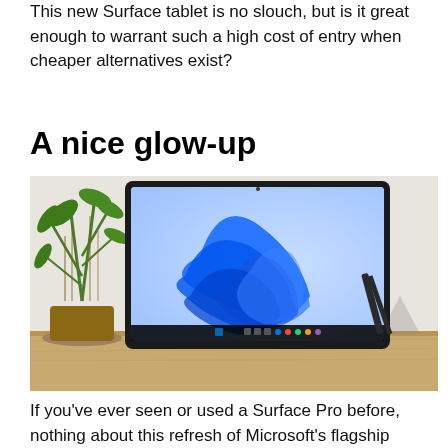This new Surface tablet is no slouch, but is it great enough to warrant such a high cost of entry when cheaper alternatives exist?
A nice glow-up
[Figure (photo): A Microsoft Surface Pro tablet standing on a wooden desk using its kickstand, displaying the Windows 11 blue wave wallpaper on screen. A plant is visible in the background to the left.]
If you've ever seen or used a Surface Pro before, nothing about this refresh of Microsoft's flagship